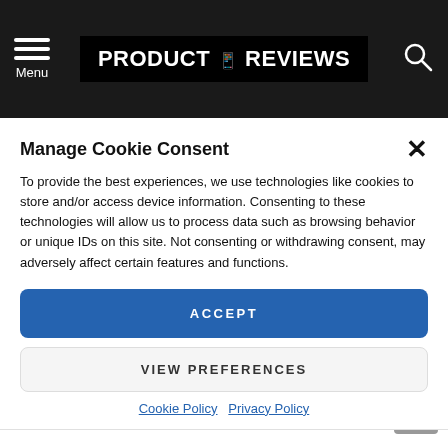Menu | PRODUCT REVIEWS
Manage Cookie Consent
To provide the best experiences, we use technologies like cookies to store and/or access device information. Consenting to these technologies will allow us to process data such as browsing behavior or unique IDs on this site. Not consenting or withdrawing consent, may adversely affect certain features and functions.
ACCEPT
VIEW PREFERENCES
Cookie Policy  Privacy Policy
LG CineBeam PH450UG UST Projector Compact And Great Quality
This LG CineBeam PH450UG UST Projector features such a